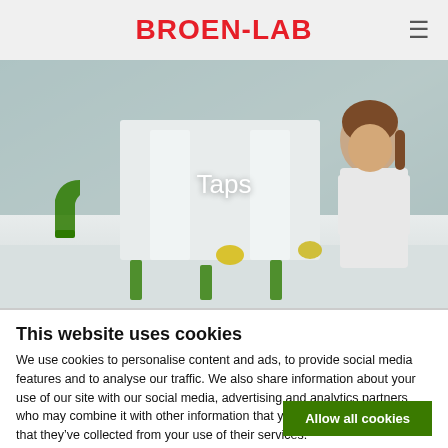BROEN-LAB
[Figure (photo): Laboratory scene with a female scientist in a white lab coat working at a bench with green-accented lab furniture and equipment]
Taps
This website uses cookies
We use cookies to personalise content and ads, to provide social media features and to analyse our traffic. We also share information about your use of our site with our social media, advertising and analytics partners who may combine it with other information that you've provided to them or that they've collected from your use of their services.
Allow all cookies